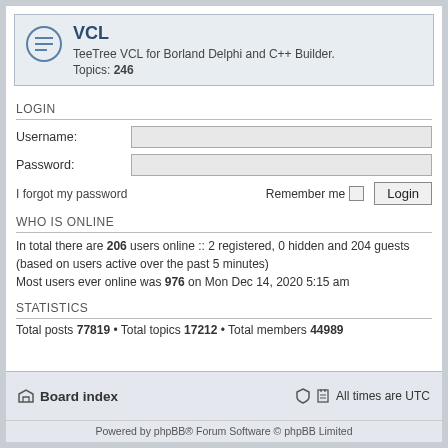VCL
TeeTree VCL for Borland Delphi and C++ Builder. Topics: 246
LOGIN
Username:
Password:
I forgot my password
Remember me
WHO IS ONLINE
In total there are 206 users online :: 2 registered, 0 hidden and 204 guests (based on users active over the past 5 minutes)
Most users ever online was 976 on Mon Dec 14, 2020 5:15 am
STATISTICS
Total posts 77819 • Total topics 17212 • Total members 44989
Board index  All times are UTC
Powered by phpBB® Forum Software © phpBB Limited